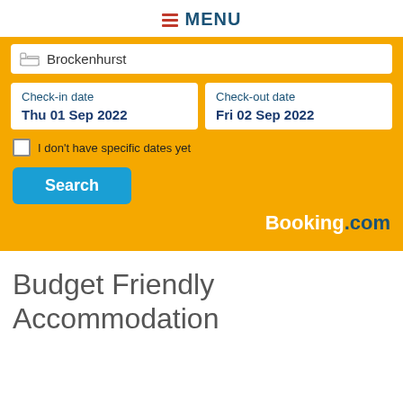MENU
Brockenhurst
Check-in date
Thu 01 Sep 2022
Check-out date
Fri 02 Sep 2022
I don't have specific dates yet
Search
[Figure (logo): Booking.com logo in white and dark blue text]
Budget Friendly Accommodation